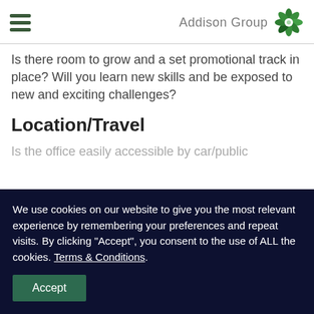Addison Group
Is there room to grow and a set promotional track in place? Will you learn new skills and be exposed to new and exciting challenges?
Location/Travel
Is the office easily accessible by car/public
We use cookies on our website to give you the most relevant experience by remembering your preferences and repeat visits. By clicking “Accept”, you consent to the use of ALL the cookies. Terms & Conditions.
Accept